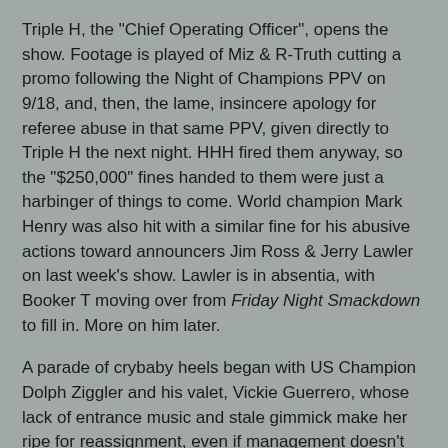Triple H, the "Chief Operating Officer", opens the show. Footage is played of Miz & R-Truth cutting a promo following the Night of Champions PPV on 9/18, and, then, the lame, insincere apology for referee abuse in that same PPV, given directly to Triple H the next night. HHH fired them anyway, so the "$250,000" fines handed to them were just a harbinger of things to come. World champion Mark Henry was also hit with a similar fine for his abusive actions toward announcers Jim Ross & Jerry Lawler on last week's show. Lawler is in absentia, with Booker T moving over from Friday Night Smackdown to fill in. More on him later.
A parade of crybaby heels began with US Champion Dolph Ziggler and his valet, Vickie Guerrero, whose lack of entrance music and stale gimmick make her ripe for reassignment, even if management doesn't see it. Ziggler got some publicity from his match vs. Zack Ryder last week after actor Hugh Jackman, acting as a guest cornerman for Ryder, clocked the arrogant Ziggler after Guerrero was ejected for interference. Intercontinental champion Cody Rhodes, the WWE's answer to the Phantom of the Opera, was next,